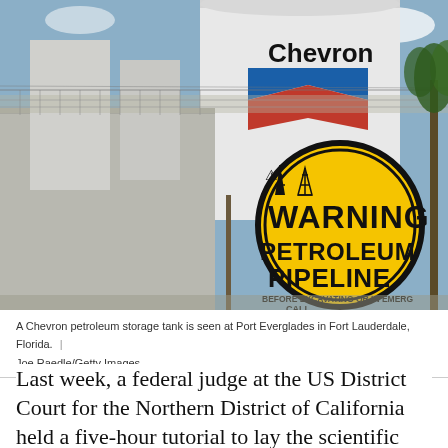[Figure (photo): A Chevron petroleum storage tank at Port Everglades in Fort Lauderdale, Florida. Visible are white cylindrical storage tanks with the Chevron logo (blue and red chevron stripes), a chain-link fence with barbed wire, and a yellow circular warning sign reading 'WARNING PETROLEUM PIPELINE BEFORE EXCAVATING OR IN EMERGENCY CALL'.]
A Chevron petroleum storage tank is seen at Port Everglades in Fort Lauderdale, Florida.  |  Joe Raedle/Getty Images
Last week, a federal judge at the US District Court for the Northern District of California held a five-hour tutorial to lay the scientific foundation for two lawsuits against the five biggest oil companies in the